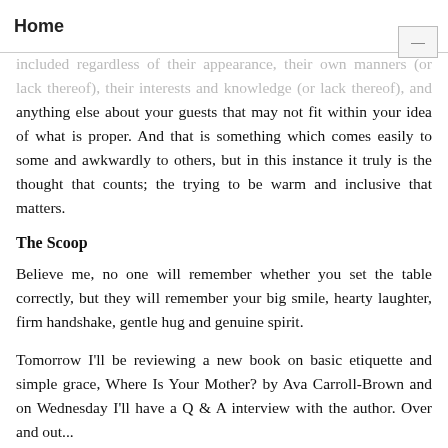Home
included regardless of their appearance, their own manners (or lack thereof), their interests and knowledge (or lack thereof), and anything else about your guests that may not fit within your idea of what is proper. And that is something which comes easily to some and awkwardly to others, but in this instance it truly is the thought that counts; the trying to be warm and inclusive that matters.
The Scoop
Believe me, no one will remember whether you set the table correctly, but they will remember your big smile, hearty laughter, firm handshake, gentle hug and genuine spirit.
Tomorrow I'll be reviewing a new book on basic etiquette and simple grace, Where Is Your Mother? by Ava Carroll-Brown and on Wednesday I'll have a Q & A interview with the author. Over and out...
Anna
Posted at 02:09 AM in Dede, Fashion, Food and Drink, Holidays